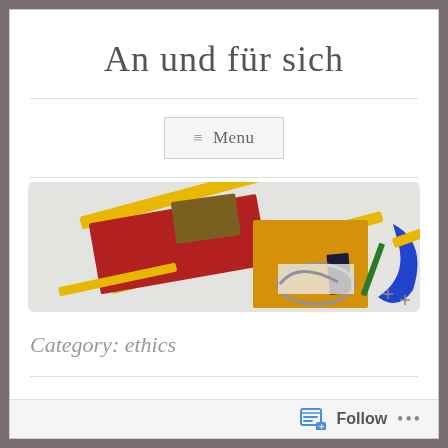An und für sich
≡ Menu
[Figure (illustration): Abstract suprematist painting with geometric shapes: red rectangle, yellow rectangle, brown rectangle, blue arc, and yellow diagonal bars on a light grey background]
Category: ethics
Follow ...